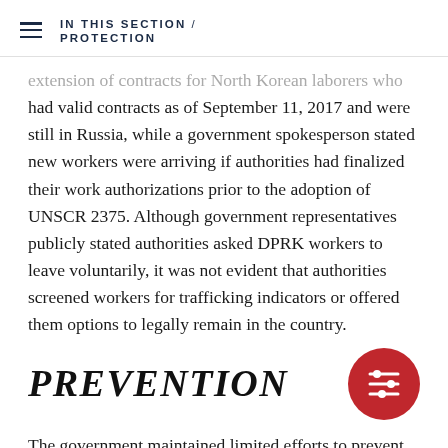IN THIS SECTION / PROTECTION
extension of contracts for North Korean laborers who had valid contracts as of September 11, 2017 and were still in Russia, while a government spokesperson stated new workers were arriving if authorities had finalized their work authorizations prior to the adoption of UNSCR 2375. Although government representatives publicly stated authorities asked DPRK workers to leave voluntarily, it was not evident that authorities screened workers for trafficking indicators or offered them options to legally remain in the country.
PREVENTION
The government maintained limited efforts to prevent